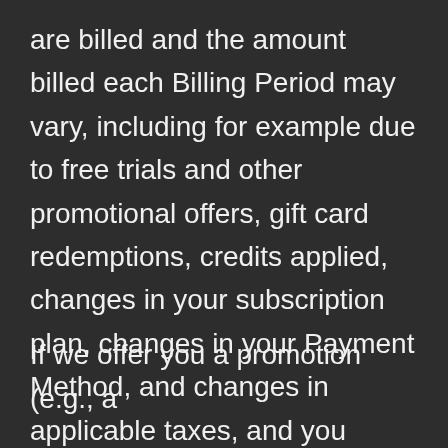are billed and the amount billed each Billing Period may vary, including for example due to free trials and other promotional offers, gift card redemptions, credits applied, changes in your subscription plan, changes in your Payment Method, and changes in applicable taxes, and you authorize us to charge your Payment Method for the corresponding amounts.
If we offer you a promotion (e.g., a